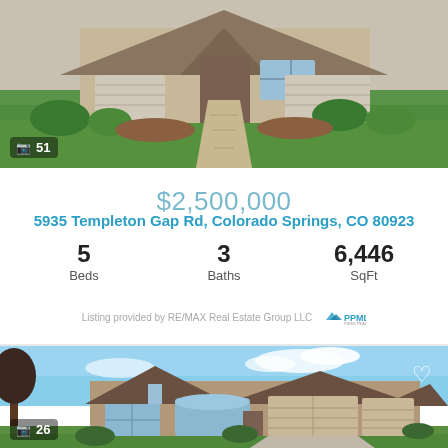[Figure (photo): Exterior photo of a large home with green lawn, decorative landscaping, and stone walkway. Badge showing camera icon and '51' in bottom left.]
$2,500,000
5935 Templeton Gap Rd, Colorado Springs, CO 80923
5 Beds   3 Baths   6,446 SqFt
Listing provided by RE/MAX Real Estate Group LLC  PPMLS
[Figure (photo): Exterior photo of a tan/brown stucco single-story home with two-car garage, blue sky background, green lawn. Heart icon top right. Badge showing camera icon and '26' in bottom left.]